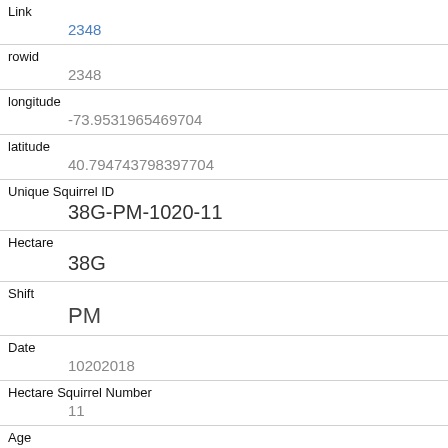| Field | Value |
| --- | --- |
| Link | 2348 |
| rowid | 2348 |
| longitude | -73.9531965469704 |
| latitude | 40.794743798397704 |
| Unique Squirrel ID | 38G-PM-1020-11 |
| Hectare | 38G |
| Shift | PM |
| Date | 10202018 |
| Hectare Squirrel Number | 11 |
| Age | Adult |
| Primary Fur Color |  |